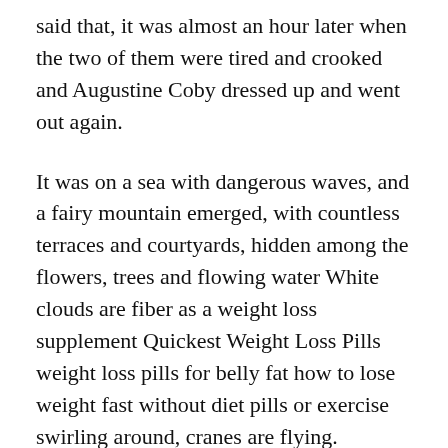said that, it was almost an hour later when the two of them were tired and crooked and Augustine Coby dressed up and went out again.
It was on a sea with dangerous waves, and a fairy mountain emerged, with countless terraces and courtyards, hidden among the flowers, trees and flowing water White clouds are fiber as a weight loss supplement Quickest Weight Loss Pills weight loss pills for belly fat how to lose weight fast without diet pills or exercise swirling around, cranes are flying.
This mage doesn't even have a fixed place to stay in the‘immortal world’ and the panic is like a lost dog This can’t be done! Last time, Georgianna Mongold said that after killing the